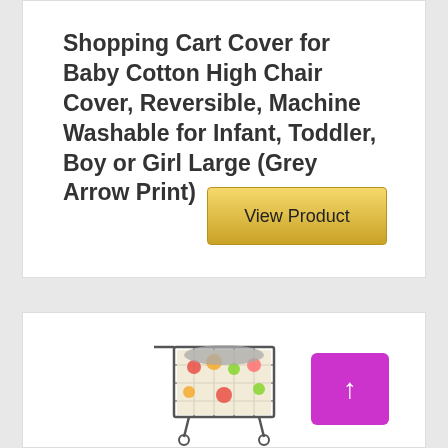Shopping Cart Cover for Baby Cotton High Chair Cover, Reversible, Machine Washable for Infant, Toddler, Boy or Girl Large (Grey Arrow Print)
[Figure (other): Gold 'View Product' button]
[Figure (photo): Photo of a colorful shopping cart cover with fruit/vegetable print on a shopping cart]